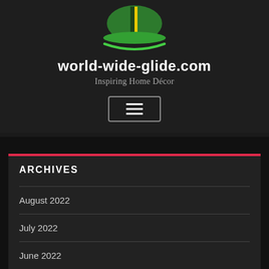[Figure (logo): World-wide-glide.com website logo — a green hat/globe shape with yellow and dark green vertical stripes, with a green swoosh/curve beneath it, on a dark background]
world-wide-glide.com
Inspiring Home Décor
[Figure (other): Hamburger menu button — three horizontal white lines inside a rounded rectangle border]
ARCHIVES
August 2022
July 2022
June 2022
May 2022